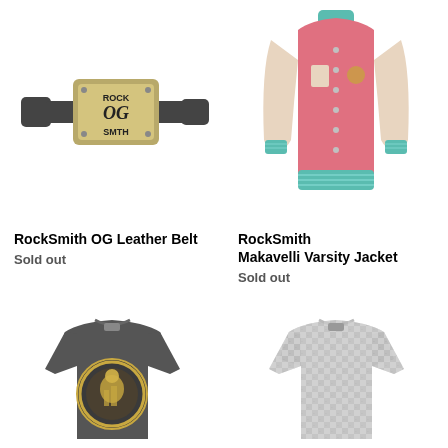[Figure (photo): RockSmith OG Leather Belt - dark leather belt with gold rectangular buckle reading ROCK OG SMTH]
[Figure (photo): RockSmith Makavelli Varsity Jacket - pink/salmon body with cream sleeves and teal/grey striped collar and cuffs]
RockSmith OG Leather Belt
Sold out
RockSmith
Makavelli Varsity Jacket
Sold out
[Figure (photo): Dark grey t-shirt with circular gold graphic featuring a parrot and city buildings with Greek key border]
[Figure (photo): White/grey patterned t-shirt with allover black and white graphic print design]